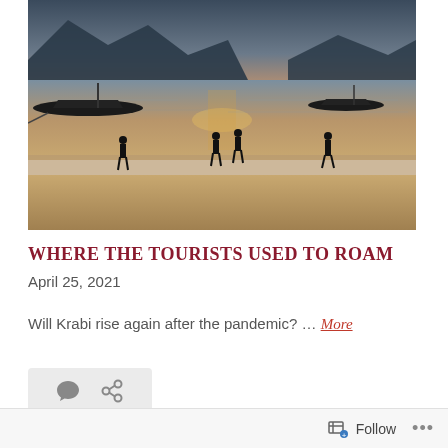[Figure (photo): Beach at sunset with silhouettes of people standing on wet sand, two longtail boats moored on water, mountains in background, warm golden-orange glow reflecting on the water surface.]
Where the tourists used to roam
April 25, 2021
Will Krabi rise again after the pandemic? … More
[Figure (other): Comment and share icons in a light gray bar]
Follow ...